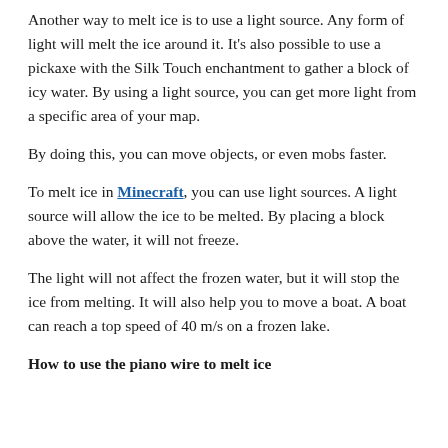Another way to melt ice is to use a light source. Any form of light will melt the ice around it. It's also possible to use a pickaxe with the Silk Touch enchantment to gather a block of icy water. By using a light source, you can get more light from a specific area of your map.
By doing this, you can move objects, or even mobs faster.
To melt ice in Minecraft, you can use light sources. A light source will allow the ice to be melted. By placing a block above the water, it will not freeze.
The light will not affect the frozen water, but it will stop the ice from melting. It will also help you to move a boat. A boat can reach a top speed of 40 m/s on a frozen lake.
How to use the piano wire to melt ice